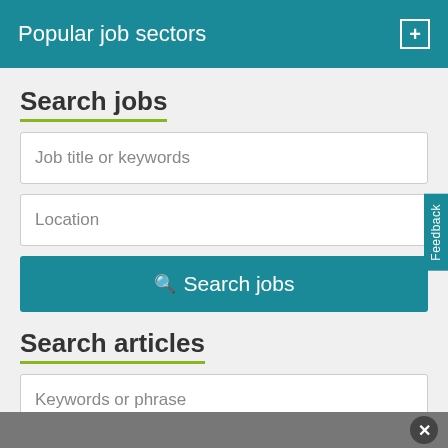Popular job sectors +
Search jobs
Job title or keywords
Location
Search jobs
Search articles
Keywords or phrase
Search